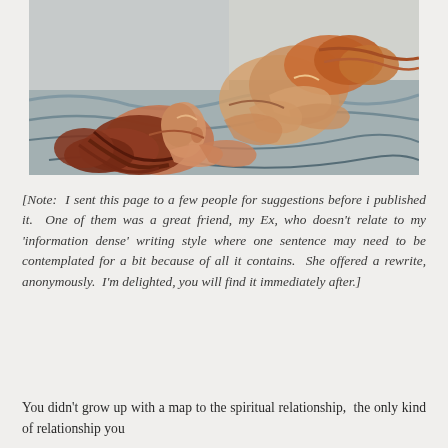[Figure (illustration): A painting in the style of post-impressionism showing two figures embracing or lying together in bed, with warm ochre and red tones against blue-grey bedding. The figures have reddish-brown hair and are rendered in loose, expressive brushstrokes reminiscent of Toulouse-Lautrec's style.]
[Note: I sent this page to a few people for suggestions before i published it. One of them was a great friend, my Ex, who doesn't relate to my 'information dense' writing style where one sentence may need to be contemplated for a bit because of all it contains. She offered a rewrite, anonymously. I'm delighted, you will find it immediately after.]
You didn't grow up with a map to the spiritual relationship, the only kind of relationship you